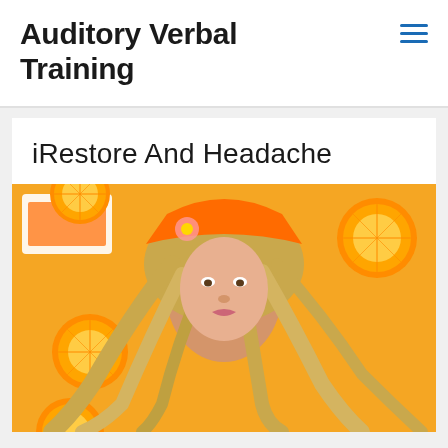Auditory Verbal Training
iRestore And Headache
[Figure (photo): A woman lying upside down on a yellow background surrounded by orange/citrus slices, wearing an orange top, with long blonde hair spread out around her head.]